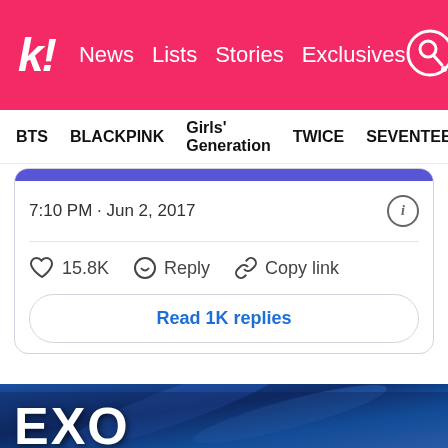k! News Lists Stories Exclusives
BTS BLACKPINK Girls' Generation TWICE SEVENTEEN
7:10 PM · Jun 2, 2017
15.8K Reply Copy link
Read 1K replies
[Figure (photo): EXO K-pop group photo — members wearing dark teal/navy velvet suits on stage with blue lighting background, with 'EXO' text label in bottom left corner]